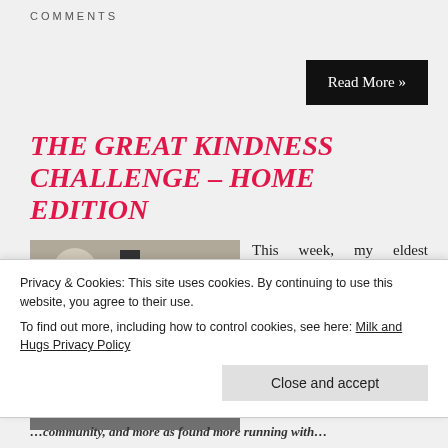COMMENTS
Read More »
THE GREAT KINDNESS CHALLENGE – HOME EDITION
[Figure (photo): Two children seen from behind, one with blonde hair, outdoors on a dark surface with chalk drawings]
This week, my eldest daughter's school is participating it The Great Kindness Challenge! If you've never heard about it, before, hold fast
Privacy & Cookies: This site uses cookies. By continuing to use this website, you agree to their use.
To find out more, including how to control cookies, see here: Milk and Hugs Privacy Policy
Close and accept
...community, and more as found more running with...